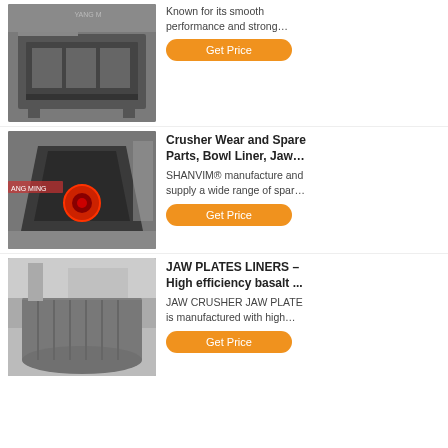[Figure (photo): Industrial jaw crusher / impact crusher machine in a factory setting, dark metal body, large industrial equipment on a pallet.]
Known for its smooth performance and strong…
Get Price
[Figure (photo): Crusher wear parts / cone crusher body shown from the side in an industrial facility with ANG MING branding visible, red circular detail on the body.]
Crusher Wear and Spare Parts, Bowl Liner, Jaw…
SHANVIM® manufacture and supply a wide range of spar…
Get Price
[Figure (photo): Large cylindrical jaw plates liner component for a crusher, gray metallic, shown in an outdoor/semi-outdoor industrial setting.]
JAW PLATES LINERS – High efficiency basalt ...
JAW CRUSHER JAW PLATE is manufactured with high…
Get Price